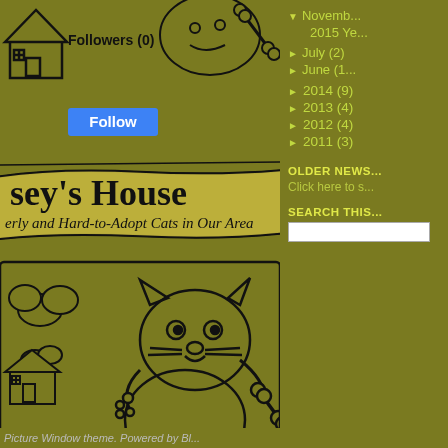[Figure (illustration): Cropped blog header illustration: hand-drawn sketch of a house top-left with a 'Follow' button, ribbon banner reading 'sey's House' and subtitle 'erly and Hard-to-Adopt Cats in Our Area', large hand-drawn cat holding a bone with a house behind it, and a repeated bottom banner 'sey's House' on yellow background.]
▼ November
2015 Ye...
► July (2)
► June (1...
► 2014 (9)
► 2013 (4)
► 2012 (4)
► 2011 (3)
OLDER NEWS...
Click here to s...
SEARCH THIS...
Picture Window theme. Powered by Bl...